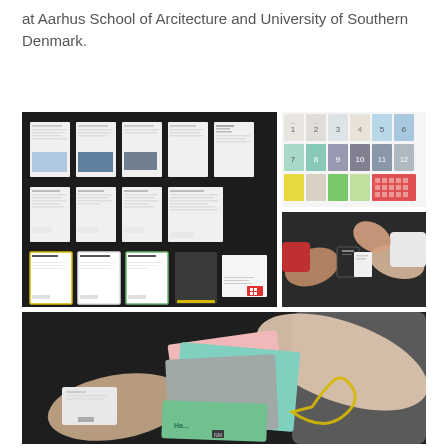at Aarhus School of Arcitecture and University of Southern Denmark.
[Figure (photo): Top-left large photo: flat lay on black background showing multiple printed A4 documents, assessment sheets, booklets, and stationery items including cards labeled 'Fokus', 'Peers feedback', 'Handlingspoint', a dark notebook with yellow elastic, and small white cards.]
[Figure (photo): Top-right upper photo: colorful numbered booklets/notebooks arranged in a grid, numbered 1 through 12 plus additional unnumbered colored books in pastel, mint, green, and pink tones with a red/branded cover.]
[Figure (photo): Top-right lower photo: multiple hands reaching over a dark table, holding and selecting small cards or booklets.]
[Figure (photo): Bottom wide photo: close-up of hands on a dark surface handling pastel-colored booklets and folders, including pink, mint/teal, and grey covers, one labeled 'Feedback', with a yellow elastic band visible.]